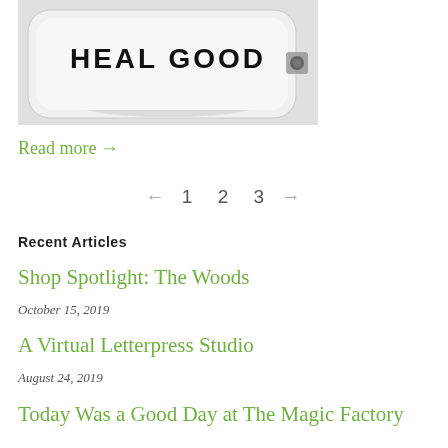[Figure (photo): A white decorative pillow with bold black text 'HEAL GOOD' printed on it, shown on a light gray background. A small square tag is visible on the right edge.]
Read more →
← 1 2 3 →
Recent Articles
Shop Spotlight: The Woods
October 15, 2019
A Virtual Letterpress Studio
August 24, 2019
Today Was a Good Day at The Magic Factory